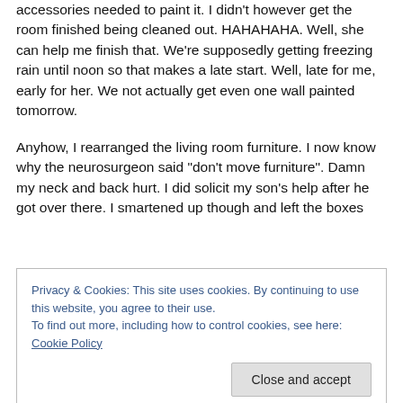accessories needed to paint it. I didn't however get the room finished being cleaned out. HAHAHAHA. Well, she can help me finish that. We're supposedly getting freezing rain until noon so that makes a late start. Well, late for me, early for her. We not actually get even one wall painted tomorrow.
Anyhow, I rearranged the living room furniture. I now know why the neurosurgeon said “don't move furniture”. Damn my neck and back hurt. I did solicit my son’s help after he got over there. I smartened up though and left the boxes
Privacy & Cookies: This site uses cookies. By continuing to use this website, you agree to their use.
To find out more, including how to control cookies, see here: Cookie Policy
Close and accept
unclear about her) stiched/created, the unholstered top of